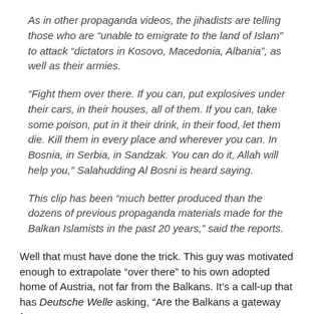As in other propaganda videos, the jihadists are telling those who are “unable to emigrate to the land of Islam” to attack “dictators in Kosovo, Macedonia, Albania”, as well as their armies.
“Fight them over there. If you can, put explosives under their cars, in their houses, all of them. If you can, take some poison, put in it their drink, in their food, let them die. Kill them in every place and wherever you can. In Bosnia, in Serbia, in Sandzak. You can do it, Allah will help you,” Salahudding Al Bosni is heard saying.
This clip has been “much better produced than the dozens of previous propaganda materials made for the Balkan Islamists in the past 20 years,” said the reports.
Well that must have done the trick. This guy was motivated enough to extrapolate “over there” to his own adopted home of Austria, not far from the Balkans. It’s a call-up that has Deutsche Welle asking, “Are the Balkans a gateway for ‘IS’?”